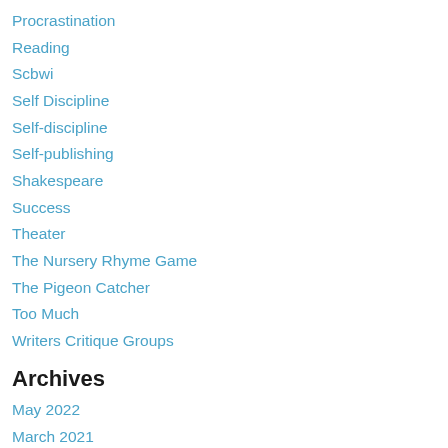Procrastination
Reading
Scbwi
Self Discipline
Self-discipline
Self-publishing
Shakespeare
Success
Theater
The Nursery Rhyme Game
The Pigeon Catcher
Too Much
Writers Critique Groups
Archives
May 2022
March 2021
September 2020
August 2020
March 2020
January 2020